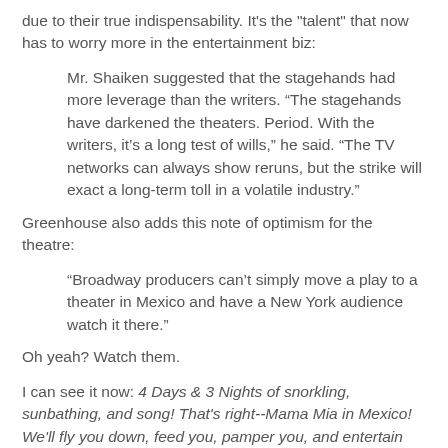due to their true indispensability. It's the "talent" that now has to worry more in the entertainment biz:
Mr. Shaiken suggested that the stagehands had more leverage than the writers. “The stagehands have darkened the theaters. Period. With the writers, it’s a long test of wills,” he said. “The TV networks can always show reruns, but the strike will exact a long-term toll in a volatile industry.”
Greenhouse also adds this note of optimism for the theatre:
“Broadway producers can’t simply move a play to a theater in Mexico and have a New York audience watch it there."
Oh yeah? Watch them.
I can see it now: 4 Days & 3 Nights of snorkling, sunbathing, and song! That's right--Mama Mia in Mexico! We'll fly you down, feed you, pamper you, and entertain you with B'way-Quality* (*road company) stars assisted by local technicians for an Abba-rific Fiesta of Mex-ical Theatre you'll never